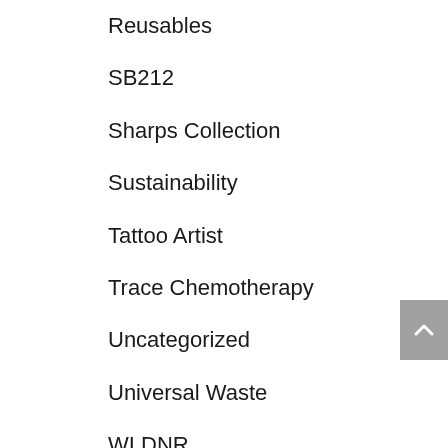Reusables
SB212
Sharps Collection
Sustainability
Tattoo Artist
Trace Chemotherapy
Uncategorized
Universal Waste
WI DNR